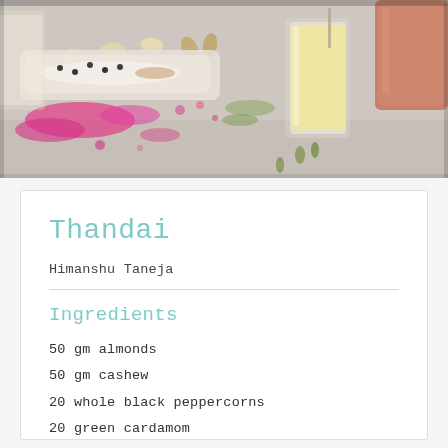[Figure (photo): Top-down food photo showing glasses of thandai (yellow/cream colored milk drink), colorful spices including pink/magenta powder, cashews, almonds, green cardamom pods, and other spices scattered on a light grey stone or concrete surface. A terracotta/pink cup is visible at the top right.]
Thandai
Himanshu Taneja
Ingredients
50 gm almonds
50 gm cashew
20 whole black peppercorns
20 green cardamom